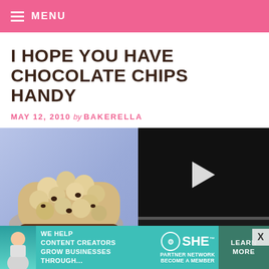MENU
I HOPE YOU HAVE CHOCOLATE CHIPS HANDY
MAY 12, 2010 by BAKERELLA
[Figure (photo): Photo of a chocolate chip rice crispy treat on a light blue background, with a video player overlay showing play button and controls (00:00), and a close X button]
[Figure (infographic): Advertisement banner: 'WE HELP CONTENT CREATORS GROW BUSINESSES THROUGH...' with SHE PARTNER NETWORK BECOME A MEMBER logo and LEARN MORE button]